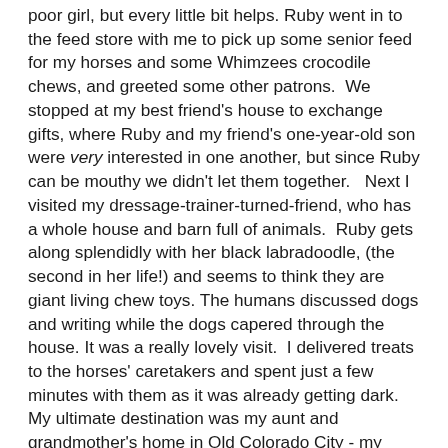poor girl, but every little bit helps. Ruby went in to the feed store with me to pick up some senior feed for my horses and some Whimzees crocodile chews, and greeted some other patrons. We stopped at my best friend's house to exchange gifts, where Ruby and my friend's one-year-old son were very interested in one another, but since Ruby can be mouthy we didn't let them together. Next I visited my dressage-trainer-turned-friend, who has a whole house and barn full of animals. Ruby gets along splendidly with her black labradoodle, (the second in her life!) and seems to think they are giant living chew toys. The humans discussed dogs and writing while the dogs capered through the house. It was a really lovely visit. I delivered treats to the horses' caretakers and spent just a few minutes with them as it was already getting dark. My ultimate destination was my aunt and grandmother's home in Old Colorado City - my cousin had arrived at my aunt's house and we went out for Mexican food that night, then stayed up quite late talking with 'The Lone Ranger' in the background while Ruby wore out her second labradoodle of the day.
On Christmas Eve, after donning our matching shirts and hats and having a little photo shoot (which yielded my last...